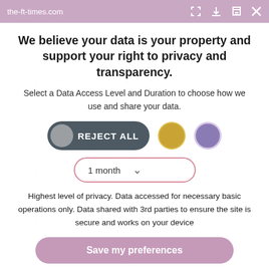the-ft-times.com
We believe your data is your property and support your right to privacy and transparency.
Select a Data Access Level and Duration to choose how we use and share your data.
[Figure (other): Three buttons: a dark grey pill-shaped 'REJECT ALL' button with grey circle, a gold/yellow circle button, and a purple circle button]
[Figure (other): A dropdown selector showing '1 month' with a downward chevron, styled with a pink border and rounded pill shape]
Highest level of privacy. Data accessed for necessary basic operations only. Data shared with 3rd parties to ensure the site is secure and works on your device
Save my preferences
Customize
Privacy policy